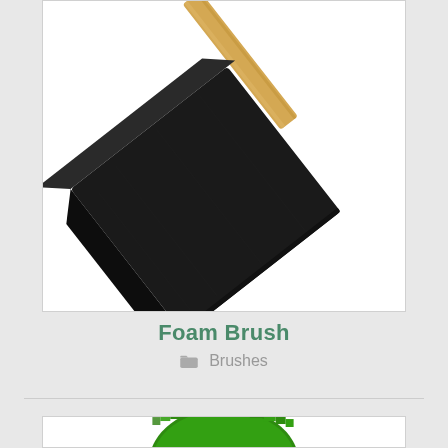[Figure (photo): A black foam brush with a wooden handle, photographed at an angle against a white background. The foam head is square/rectangular and dark black, with a light tan wooden stick handle.]
Foam Brush
Brushes
[Figure (photo): Partial view of a green circular object (appears to be top of a green paint brush or similar round tool) visible at the bottom of the page, cut off.]